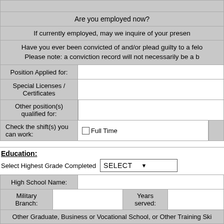| Are you employed now? |
| If currently employed, may we inquire of your presen |
| Have you ever been convicted of and/or plead guilty to a felo
Please note: a conviction record will not necessarily be a b |
| Position Applied for: |  |
| Special Licenses / Certificates |  |
| Other position(s) qualified for: |  |
| Check the shift(s) you can work: | ☐ Full Time |  |
Education:
Select Highest Grade Completed SELECT ▼
| High School Name: |  |
| Military Branch: |  | Years served: |  |
| Other Graduate, Business or Vocational School, or Other Training Ski |
Employment Record:
| Company Name: |  | Addre |